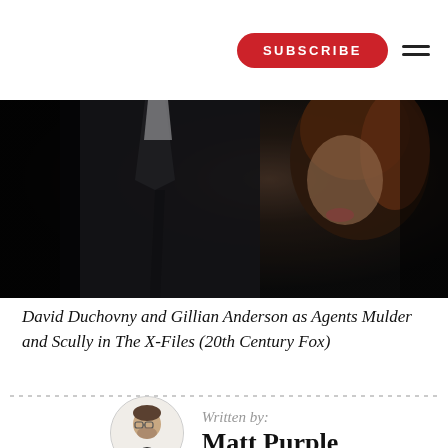SUBSCRIBE
[Figure (photo): Dark, moody still from The X-Files showing two figures in close proximity — one in a dark suit with tie, one with auburn hair — dramatically lit from the side against a dark background.]
David Duchovny and Gillian Anderson as Agents Mulder and Scully in The X-Files (20th Century Fox)
Written by:
Matt Purple